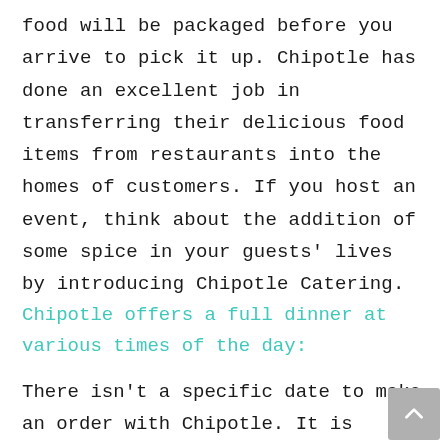food will be packaged before you arrive to pick it up. Chipotle has done an excellent job in transferring their delicious food items from restaurants into the homes of customers. If you host an event, think about the addition of some spice in your guests' lives by introducing Chipotle Catering.
Chipotle offers a full dinner at various times of the day:
There isn't a specific date to make an order with Chipotle. It is possible to order breakfast, lunch, or dinner. If you're